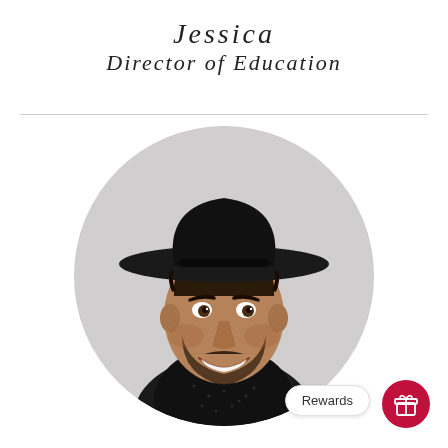JESSICA
DIRECTOR OF EDUCATION
[Figure (photo): Portrait photo of a smiling man wearing a wide-brimmed black hat and dark dotted jacket, shown inside a circular grey-background frame]
Rewards